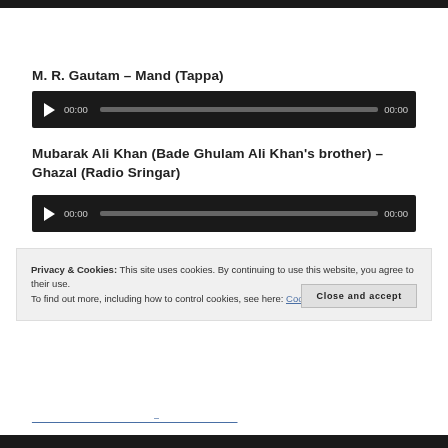M. R. Gautam – Mand (Tappa)
[Figure (other): Audio player widget with play button, time display 00:00, progress bar, and end time 00:00 on dark background]
Mubarak Ali Khan (Bade Ghulam Ali Khan's brother) – Ghazal (Radio Sringar)
[Figure (other): Audio player widget with play button, time display 00:00, progress bar, and end time 00:00 on dark background]
Privacy & Cookies: This site uses cookies. By continuing to use this website, you agree to their use.
To find out more, including how to control cookies, see here: Cookie Policy
Close and accept